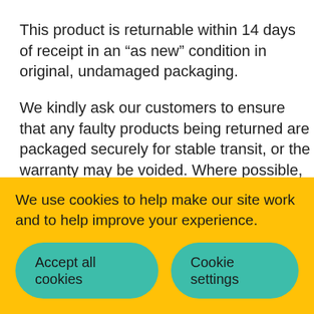This product is returnable within 14 days of receipt in an “as new” condition in original, undamaged packaging.
We kindly ask our customers to ensure that any faulty products being returned are packaged securely for stable transit, or the warranty may be voided. Where possible, please use the original packaging.
We use cookies to help make our site work and to help improve your experience.
Accept all cookies
Cookie settings